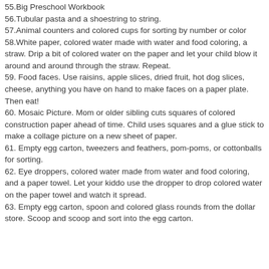55.Big Preschool Workbook
56.Tubular pasta and a shoestring to string.
57.Animal counters and colored cups for sorting by number or color
58.White paper, colored water made with water and food coloring, a straw. Drip a bit of colored water on the paper and let your child blow it around and around through the straw. Repeat.
59. Food faces. Use raisins, apple slices, dried fruit, hot dog slices, cheese, anything you have on hand to make faces on a paper plate. Then eat!
60. Mosaic Picture. Mom or older sibling cuts squares of colored construction paper ahead of time. Child uses squares and a glue stick to make a collage picture on a new sheet of paper.
61. Empty egg carton, tweezers and feathers, pom-poms, or cottonballs for sorting.
62. Eye droppers, colored water made from water and food coloring, and a paper towel. Let your kiddo use the dropper to drop colored water on the paper towel and watch it spread.
63. Empty egg carton, spoon and colored glass rounds from the dollar store. Scoop and scoop and sort into the egg carton.